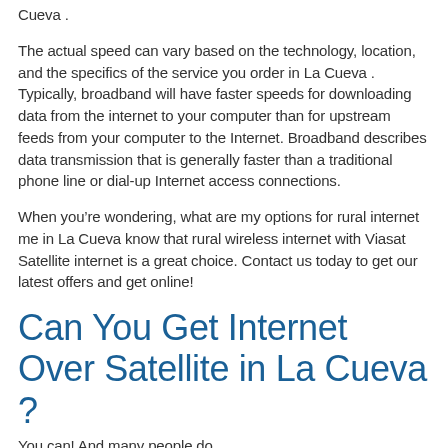Cueva .
The actual speed can vary based on the technology, location, and the specifics of the service you order in La Cueva . Typically, broadband will have faster speeds for downloading data from the internet to your computer than for upstream feeds from your computer to the Internet. Broadband describes data transmission that is generally faster than a traditional phone line or dial-up Internet access connections.
When you’re wondering, what are my options for rural internet me in La Cueva know that rural wireless internet with Viasat Satellite internet is a great choice. Contact us today to get our latest offers and get online!
Can You Get Internet Over Satellite in La Cueva ?
You can! And many people do.